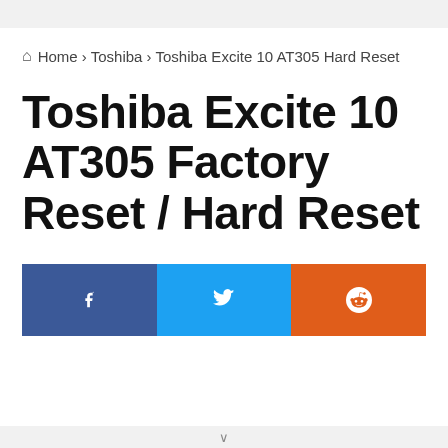Home › Toshiba › Toshiba Excite 10 AT305 Hard Reset
Toshiba Excite 10 AT305 Factory Reset / Hard Reset
[Figure (other): Social share buttons: Facebook (blue), Twitter (light blue), Reddit (orange) with respective icons]